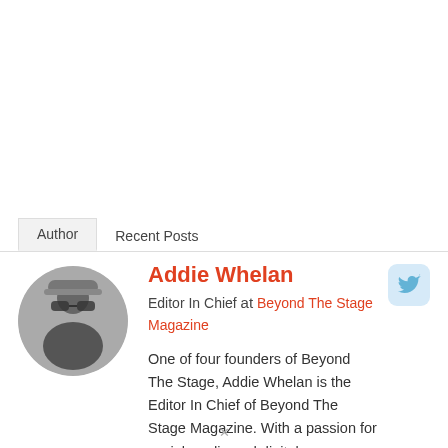Author | Recent Posts
[Figure (photo): Circular black and white portrait photo of Addie Whelan wearing a knitted hat and sunglasses, outdoors in a wintry setting]
Addie Whelan
Editor In Chief at Beyond The Stage Magazine
One of four founders of Beyond The Stage, Addie Whelan is the Editor In Chief of Beyond The Stage Magazine. With a passion for social media and digital
[Figure (logo): Twitter bird icon in light blue rounded square button]